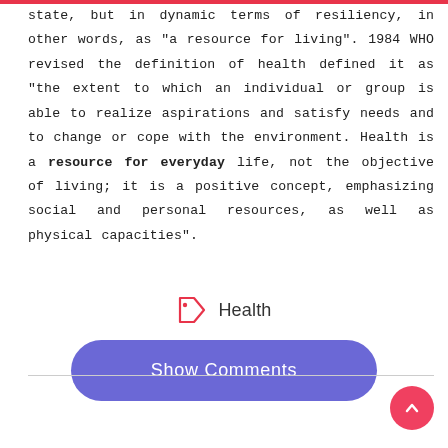state, but in dynamic terms of resiliency, in other words, as "a resource for living". 1984 WHO revised the definition of health defined it as "the extent to which an individual or group is able to realize aspirations and satisfy needs and to change or cope with the environment. Health is a resource for everyday life, not the objective of living; it is a positive concept, emphasizing social and personal resources, as well as physical capacities".
Health
[Figure (other): A pink/red outlined tag/label icon next to the word Health, and a purple rounded rectangle button labeled Show Comments. A pink FAB button with an up-arrow chevron is in the bottom-right corner.]